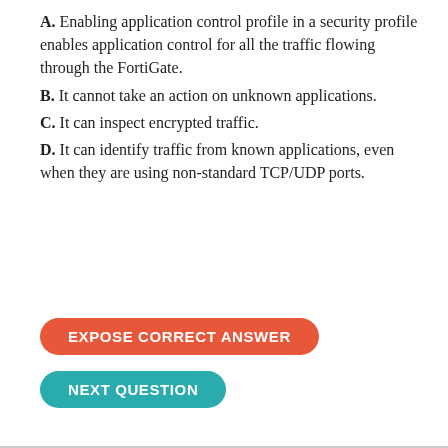A. Enabling application control profile in a security profile enables application control for all the traffic flowing through the FortiGate.
B. It cannot take an action on unknown applications.
C. It can inspect encrypted traffic.
D. It can identify traffic from known applications, even when they are using non-standard TCP/UDP ports.
EXPOSE CORRECT ANSWER
NEXT QUESTION